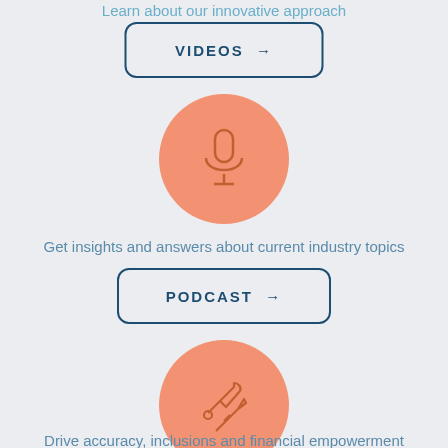Learn about our innovative approach
[Figure (other): VIDEOS button with right arrow, dark blue border rounded rectangle]
[Figure (other): Orange circle with microphone icon]
Get insights and answers about current industry topics
[Figure (other): PODCAST button with right arrow, dark blue border rounded rectangle]
[Figure (other): Orange circle with tools/wrench and screwdriver icon]
Drive accuracy, inclusions and financial empowerment